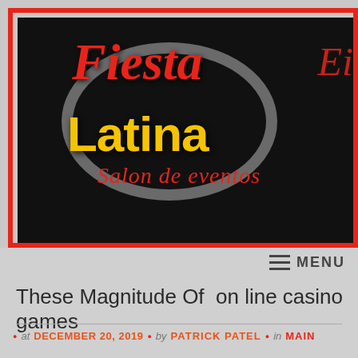[Figure (logo): Fiesta Latina Salon de eventos logo on black background with red border. Red cursive 'Fiesta' text, bold yellow 'Latina' text, red italic 'Salon de eventos' text, with a gray ellipse design element.]
≡ MENU
These Magnitude Of  on line casino games
• at DECEMBER 20, 2019  • by PATRICK PATEL  • in MAIN